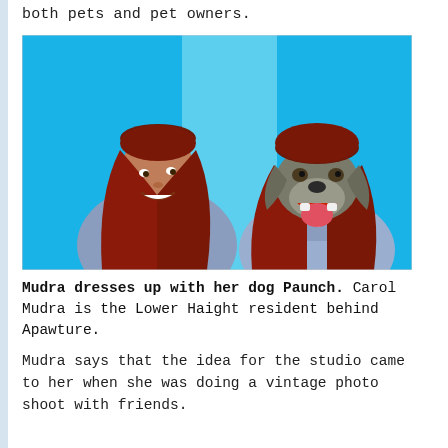both pets and pet owners.
[Figure (photo): A woman with long red hair and bangs (Carol Mudra) stands next to a dog wearing a matching red wig and a blue/lavender shirt, both against a bright blue background.]
Mudra dresses up with her dog Paunch. Carol Mudra is the Lower Haight resident behind Apawture.
Mudra says that the idea for the studio came to her when she was doing a vintage photo shoot with friends.